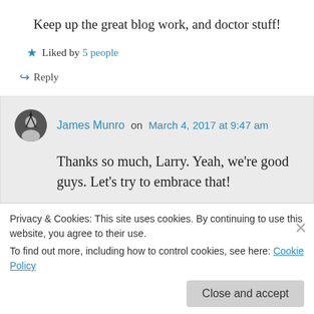Keep up the great blog work, and doctor stuff!
★ Liked by 5 people
↪ Reply
James Munro on March 4, 2017 at 9:47 am
Thanks so much, Larry. Yeah, we're good guys. Let's try to embrace that!
★ Like
Privacy & Cookies: This site uses cookies. By continuing to use this website, you agree to their use.
To find out more, including how to control cookies, see here: Cookie Policy